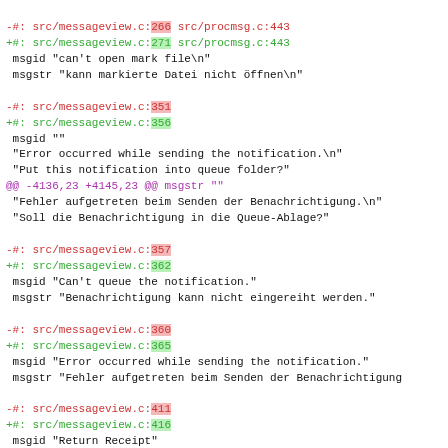diff code block showing gettext/po file changes for messageview.c and procmsg.c
-#: src/messageview.c:266 src/procmsg.c:443
+#: src/messageview.c:271 src/procmsg.c:443
 msgid "can't open mark file\n"
 msgstr "kann markierte Datei nicht öffnen\n"

-#: src/messageview.c:351
+#: src/messageview.c:356
 msgid ""
 "Error occurred while sending the notification.\n"
 "Put this notification into queue folder?"
@@ -4136,23 +4145,23 @@ msgstr ""
 "Fehler aufgetreten beim Senden der Benachrichtigung.\n"
 "Soll die Benachrichtigung in die Queue-Ablage?"

-#: src/messageview.c:357
+#: src/messageview.c:362
 msgid "Can't queue the notification."
 msgstr "Benachrichtigung kann nicht eingereiht werden."

-#: src/messageview.c:360
+#: src/messageview.c:365
 msgid "Error occurred while sending the notification."
 msgstr "Fehler aufgetreten beim Senden der Benachrichtigung

-#: src/messageview.c:411
+#: src/messageview.c:416
 msgid "Return Receipt"
 msgstr "Empfangsbestätigung"

-#: src/messageview.c:411
+#: src/messageview.c:416